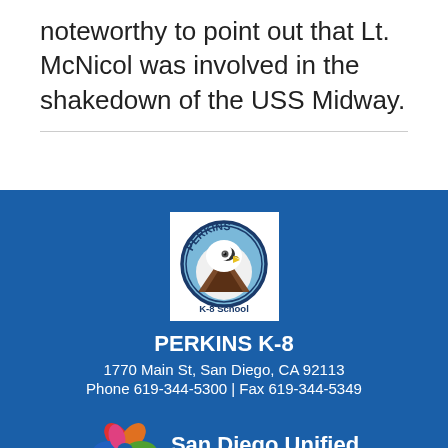noteworthy to point out that Lt. McNicol was involved in the shakedown of the USS Midway.
[Figure (logo): Perkins K-8 School logo: eagle head inside a circle badge with text 'PERKINS' at top and 'K-8 School' at bottom, white background]
PERKINS K-8
1770 Main St, San Diego, CA 92113
Phone 619-344-5300 | Fax 619-344-5349
[Figure (logo): San Diego Unified School District logo: colorful star/pinwheel shape followed by 'San Diego Unified SCHOOL DISTRICT' text in white]